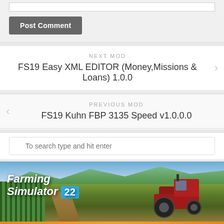[Figure (screenshot): Input box (text field) at top of page, partially visible]
Post Comment
NEXT MOD
FS19 Easy XML EDITOR (Money,Missions & Loans) 1.0.0
PREVIOUS MOD
FS19 Kuhn FBP 3135 Speed v1.0.0.0
To search type and hit enter
[Figure (illustration): Farming Simulator 22 promotional banner with tractor, green fields, vineyards, and FS22MODHUB.COM URL at the bottom]